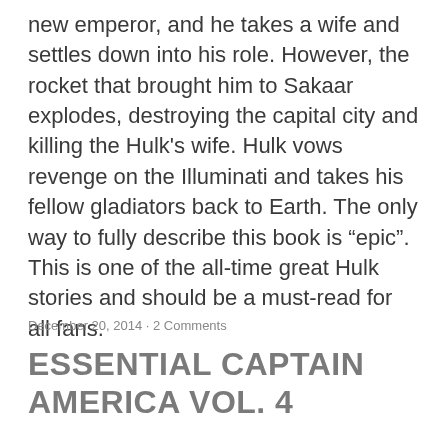new emperor, and he takes a wife and settles down into his role. However, the rocket that brought him to Sakaar explodes, destroying the capital city and killing the Hulk's wife. Hulk vows revenge on the Illuminati and takes his fellow gladiators back to Earth. The only way to fully describe this book is “epic”. This is one of the all-time great Hulk stories and should be a must-read for all fans.
December 20, 2014 · 2 Comments
ESSENTIAL CAPTAIN AMERICA VOL. 4